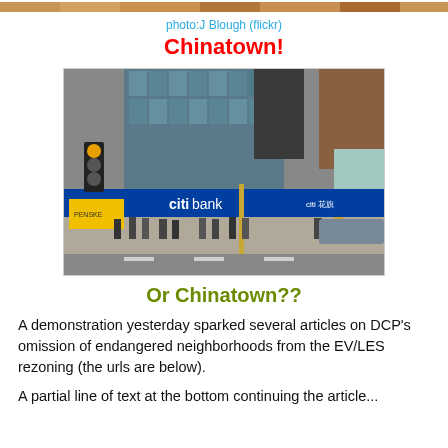[Figure (photo): Top edge of a photo strip showing a street scene]
photo:J Blough (flickr)
Chinatown!
[Figure (photo): Street scene showing a Citibank branch in what appears to be Chinatown, New York City, with pedestrians crossing the street and a Penske truck visible. Glass office building in background.]
Or Chinatown??
A demonstration yesterday sparked several articles on DCP's omission of endangered neighborhoods from the EV/LES rezoning (the urls are below).
A partial line of text continuing...